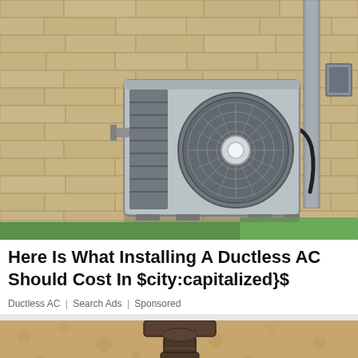[Figure (photo): Photo of a ductless mini-split AC outdoor unit mounted on a brick wall, with a circular fan grille, black cable/conduit running down the wall, and a small electrical box mounted to the right. Green grass visible at bottom right corner.]
Here Is What Installing A Ductless AC Should Cost In $city:capitalized}$
Ductless AC | Search Ads | Sponsored
[Figure (photo): Partial photo showing the bottom portion of an outdoor wall-mounted light fixture against a tan/beige textured stucco wall.]